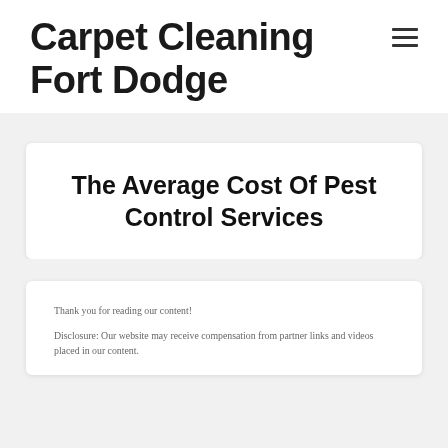Carpet Cleaning Fort Dodge
The Average Cost Of Pest Control Services
Thank you for reading our content!
Disclosure: Our website may receive compensation from partner links and videos placed in our content.